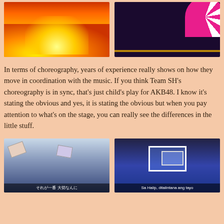[Figure (photo): Two concert performance images side by side: left shows orange/yellow flames on stage, right shows a decorative pink fan against a dark background]
In terms of choreography, years of experience really shows on how they move in coordination with the music. If you think Team SH's choreography is in sync, that's just child's play for AKB48. I know it's stating the obvious and yes, it is stating the obvious but when you pay attention to what's on the stage, you can really see the differences in the little stuff.
[Figure (photo): Two concert performance images side by side: left shows floating photo cards against a cloud/sky backdrop with Japanese subtitle text, right shows a large screen display with performers below and Filipino subtitle text]